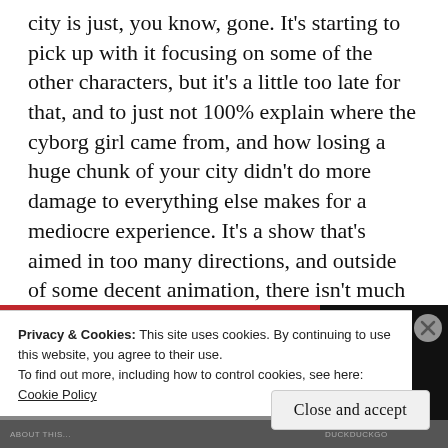city is just, you know, gone. It's starting to pick up with it focusing on some of the other characters, but it's a little too late for that, and to just not 100% explain where the cyborg girl came from, and how losing a huge chunk of your city didn't do more damage to everything else makes for a mediocre experience. It's a show that's aimed in too many directions, and outside of some decent animation, there isn't much else that stands out about this show.
[Figure (photo): Partial image visible behind cookie consent banner, showing a dark scene with red banner bar at top and dark block on right side with small text at bottom.]
Privacy & Cookies: This site uses cookies. By continuing to use this website, you agree to their use.
To find out more, including how to control cookies, see here: Cookie Policy
Close and accept